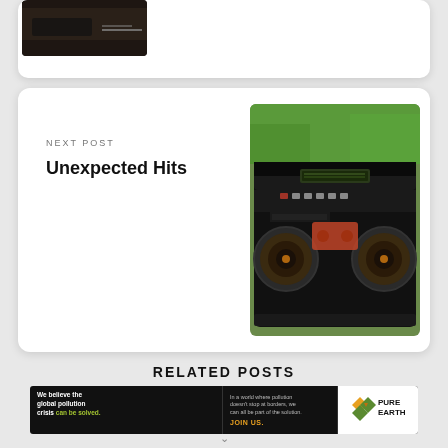[Figure (photo): Dark photo showing a device on a wooden surface with cable]
[Figure (photo): Photo of a vintage boombox/radio cassette player with large speakers, outdoors with green foliage background]
NEXT POST
Unexpected Hits
RELATED POSTS
[Figure (infographic): Pure Earth advertisement banner: 'We believe the global pollution crisis can be solved. In a world where pollution doesn't stop at borders, we can all be part of the solution. JOIN US.' with Pure Earth logo]